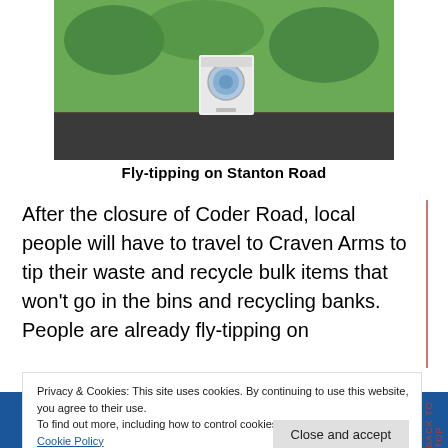[Figure (photo): A white washing machine fly-tipped on grass beside a road (Stanton Road). Green lawn and dark tarmac road visible.]
Fly-tipping on Stanton Road
After the closure of Coder Road, local people will have to travel to Craven Arms to tip their waste and recycle bulk items that won't go in the bins and recycling banks. People are already fly-tipping on
Privacy & Cookies: This site uses cookies. By continuing to use this website, you agree to their use.
To find out more, including how to control cookies, see here:
Cookie Policy
Close and accept
[Figure (photo): Bottom strip showing fly-tipped waste bags on ground.]